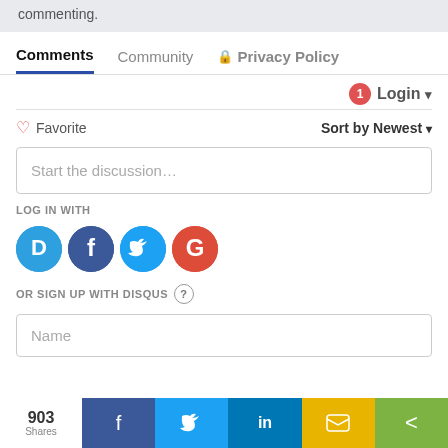commenting.
Comments   Community   🔒 Privacy Policy
1  Login ▾
♡ Favorite    Sort by Newest ▾
Start the discussion…
LOG IN WITH
[Figure (infographic): Social login icons: Disqus (D), Facebook (f), Twitter bird, Google (G)]
OR SIGN UP WITH DISQUS ?
Name
903 Shares — Facebook, Twitter, LinkedIn, SMS, Share buttons